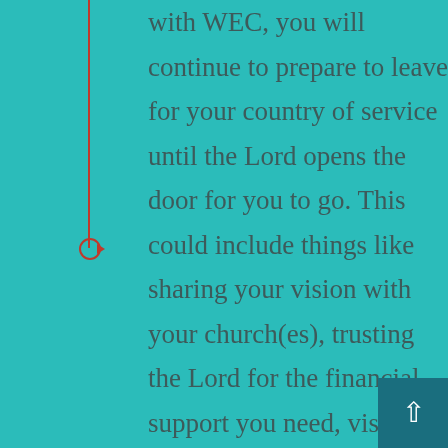with WEC, you will continue to prepare to leave for your country of service until the Lord opens the door for you to go. This could include things like sharing your vision with your church(es), trusting the Lord for the financial support you need, visiting family and friends, applying for your visa, and making travel arrangements. Our USA Directors and staff are here to help you in